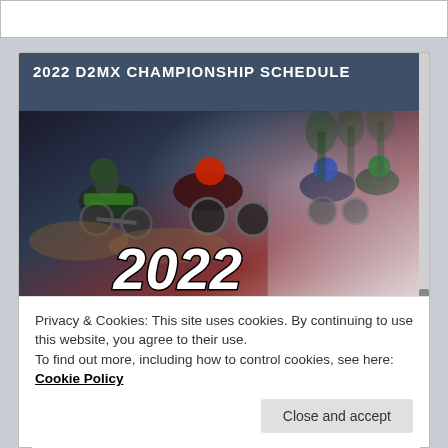2022 D2MX CHAMPIONSHIP SCHEDULE
[Figure (photo): 2022 D2MX Championship NJ Championship Series Schedule promotional image with motocross riders and event branding]
Privacy & Cookies: This site uses cookies. By continuing to use this website, you agree to their use.
To find out more, including how to control cookies, see here: Cookie Policy
Close and accept
July 17	Field of Dreams